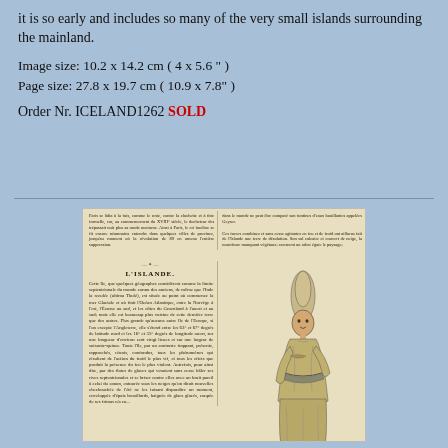it is so early and includes so many of the very small islands surrounding the mainland.
Image size: 10.2 x 14.2 cm ( 4 x 5.6 " )
Page size: 27.8 x 19.7 cm ( 10.9 x 7.8" )
Order Nr. ICELAND1262 SOLD
[Figure (illustration): Antique engraving/print showing a page from a French publication about Iceland ('L'ISLANDE'), with two columns of French text on the left side and an illustration of a person in traditional Icelandic costume on the right side.]